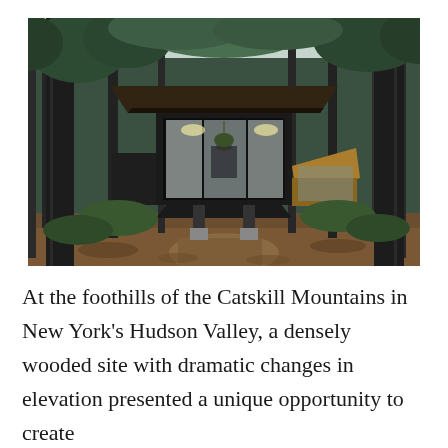[Figure (photo): A modern architectural structure elevated among dense forest trees at the foothills of the Catskill Mountains in New York's Hudson Valley. The building features large floor-to-ceiling glass windows, a dark angular roof that flares upward, and appears to float above the wooded hillside. The interior is softly lit. A smaller adjacent structure with warm wood tones is visible to the right.]
At the foothills of the Catskill Mountains in New York's Hudson Valley, a densely wooded site with dramatic changes in elevation presented a unique opportunity to create